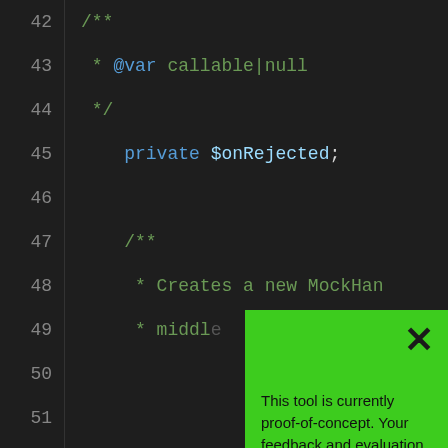[Figure (screenshot): Code editor screenshot showing PHP code with line numbers 42-65. Lines 43-44 show a PHPDoc comment with @var callable|null, line 45 shows 'private $onRejected;', lines 47-49 show start of another PHPDoc comment 'Creates a new MockHandler * middle'. A green popup overlay appears over the lower portion with an X close button and text about a proof-of-concept tool requesting user feedback via a short survey.]
This tool is currently proof-of-concept. Your feedback and evaluation is valuable in helping to improve it and ensure its reports are meaninful.

Please click here to complete a short survey to tell us what you think. It should take less than 5 minutes and help further this research project!